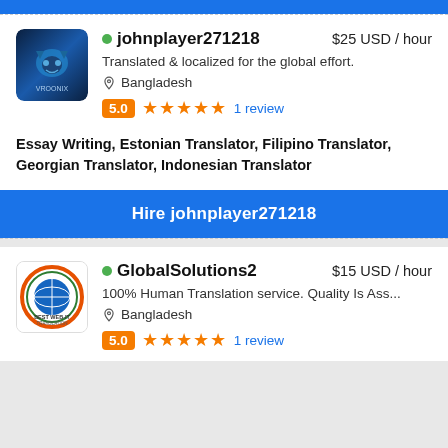[Figure (screenshot): Top blue banner bar]
johnplayer271218   $25 USD / hour
Translated & localized for the global effort.
Bangladesh
5.0 ★★★★★ 1 review
Essay Writing, Estonian Translator, Filipino Translator, Georgian Translator, Indonesian Translator
Hire johnplayer271218
GlobalSolutions2   $15 USD / hour
100% Human Translation service. Quality Is Ass...
Bangladesh
5.0 ★★★★★ 1 review